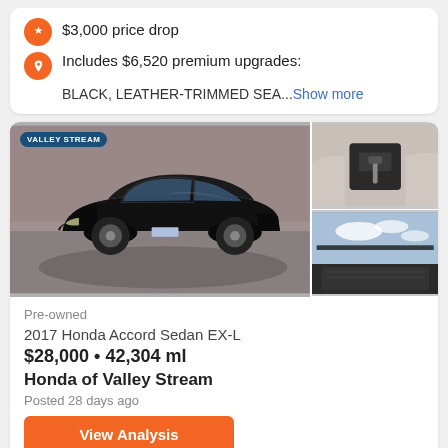$3,000 price drop
Includes $6,520 premium upgrades: BLACK, LEATHER-TRIMMED SEA...Show more
[Figure (photo): 2017 Honda Accord Sedan EX-L in black, with dealer badge 'Valley Stream', main exterior shot and two interior/sunroof detail photos on the right.]
Pre-owned
2017 Honda Accord Sedan EX-L
$28,000 • 42,304 ml
Honda of Valley Stream
Posted 28 days ago
View Analysis